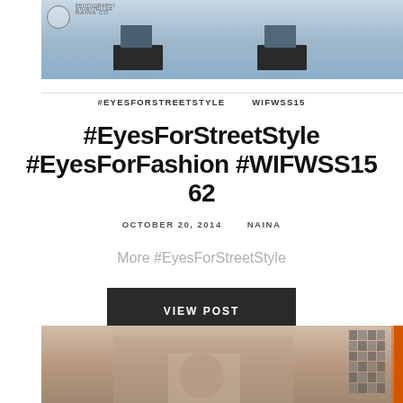[Figure (photo): Top photo showing feet with sandals and jeans, street style photography with watermark]
#EYESFORSTREETSTYLE    WIFWSS15
#EyesForStreetStyle #EyesForFashion #WIFWSS15 62
OCTOBER 20, 2014    NAINA
More #EyesForStreetStyle
VIEW POST
[Figure (photo): Bottom photo showing a woman with reddish-brown hair smiling, wearing floral clothing, with an orange-framed background display]